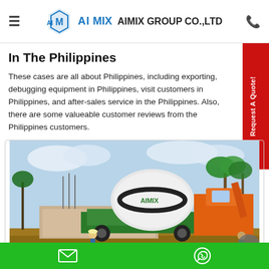AIMIX GROUP CO.,LTD
In The Philippines
These cases are all about Philippines, including exporting, debugging equipment in Philippines, visit customers in Philippines, and after-sales service in the Philippines. Also, there are some valueable customer reviews from the Philippines customers.
[Figure (photo): Photo of an AIMIX branded concrete mixer truck on a construction site in the Philippines, with an orange excavator and palm trees in the background.]
Email and WhatsApp contact icons on green bar